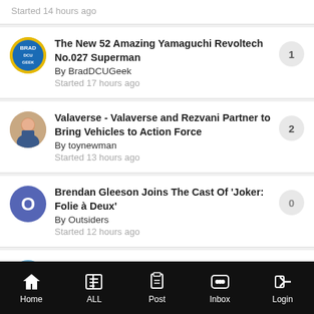Started 14 hours ago
The New 52 Amazing Yamaguchi Revoltech No.027 Superman
By BradDCUGeek
Started 17 hours ago
Replies: 1
Valaverse - Valaverse and Rezvani Partner to Bring Vehicles to Action Force
By toynewman
Started 13 hours ago
Replies: 2
Brendan Gleeson Joins The Cast Of 'Joker: Folie à Deux'
By Outsiders
Started 12 hours ago
Replies: 0
New Masters of the Universe Masterverse Deluxe Skeletor Figure Pre...
Replies: 19
Home | ALL | Post | Inbox | Login